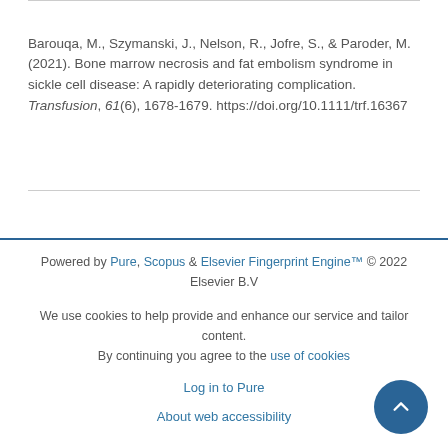Barouqa, M., Szymanski, J., Nelson, R., Jofre, S., & Paroder, M. (2021). Bone marrow necrosis and fat embolism syndrome in sickle cell disease: A rapidly deteriorating complication. Transfusion, 61(6), 1678-1679. https://doi.org/10.1111/trf.16367
Powered by Pure, Scopus & Elsevier Fingerprint Engine™ © 2022 Elsevier B.V
We use cookies to help provide and enhance our service and tailor content. By continuing you agree to the use of cookies
Log in to Pure
About web accessibility